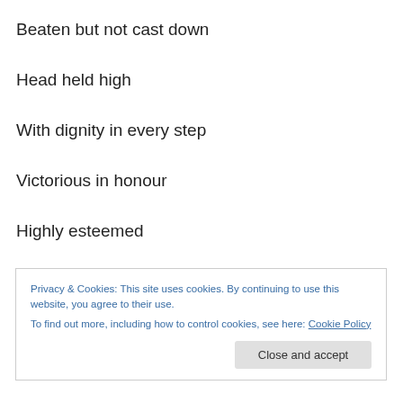Beaten but not cast down
Head held high
With dignity in every step
Victorious in honour
Highly esteemed
Though the battle raged
And death was in the air
Privacy & Cookies: This site uses cookies. By continuing to use this website, you agree to their use.
To find out more, including how to control cookies, see here: Cookie Policy